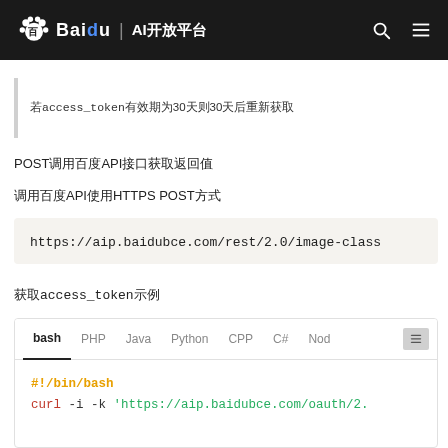百度大脑 | AI开放平台
若access_token有效期为30天则30天后重新获取
POST调用百度API接口获取返回值
调用百度API使用HTTPS POST方式
https://aip.baidubce.com/rest/2.0/image-class
获取access_token示例
#!/bin/bash
curl -i -k 'https://aip.baidubce.com/oauth/2.